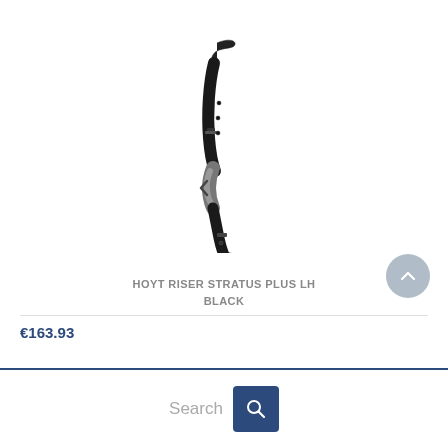[Figure (photo): Hoyt Riser Stratus Plus LH Black archery bow riser, dark/black colored, curved shape, viewed from the side against white background]
HOYT RISER STRATUS PLUS LH BLACK
€163.93
Search